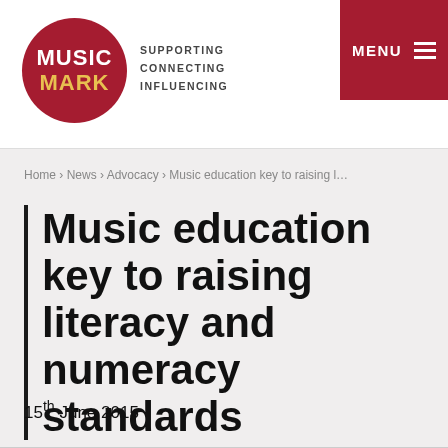MUSIC MARK — SUPPORTING CONNECTING INFLUENCING | MENU
Home › News › Advocacy › Music education key to raising l…
Music education key to raising literacy and numeracy standards
15th June 2015